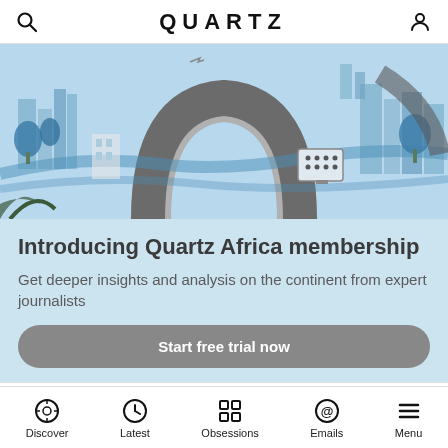QUARTZ
[Figure (illustration): Illustrated cityscape with blue and grey tones showing African city scenes with buildings, trees, and a large grey arch shape in the center]
Introducing Quartz Africa membership
Get deeper insights and analysis on the continent from expert journalists
Start free trial now
POPULAR STORIES
Discover  Latest  Obsessions  Emails  Menu